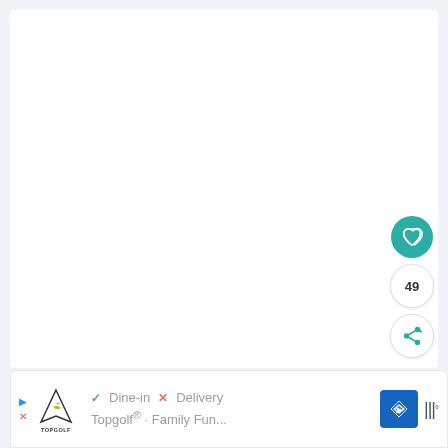[Figure (screenshot): White main content area - app screenshot with mostly blank white space]
[Figure (infographic): Action buttons on right side: teal heart/favorite button, count badge showing 49, and share button]
[Figure (infographic): Advertisement banner at bottom showing Topgolf logo, Dine-in checkmark and Delivery X options, navigation arrow icon, and menu icon]